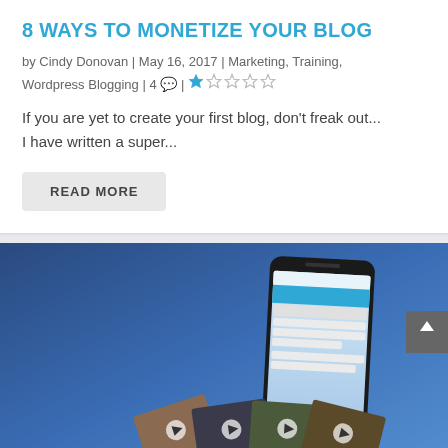8 WAYS TO MONETIZE YOUR BLOG
by Cindy Donovan | May 16, 2017 | Marketing, Training, Wordpress Blogging | 4 💬 | ★☆☆☆☆
If you are yet to create your first blog, don't freak out... I have written a super...
READ MORE
[Figure (photo): Hand holding a smartphone displaying a Facebook feed with video thumbnails fanned out below the phone, against a blue background. A back-to-top arrow button is visible on the right side.]